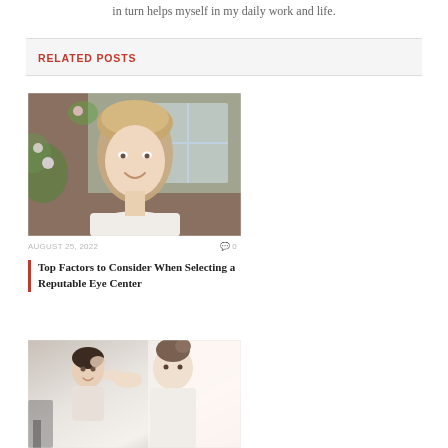in turn helps myself in my daily work and life.
RELATED POSTS
[Figure (photo): Smiling middle-aged woman outdoors near a house with flowers in background]
AUGUST 25, 2022   💬 0
Top Factors to Consider When Selecting a Reputable Eye Center
[Figure (photo): Two women, one applying eye drops or makeup to the other, indoors with bright window light]